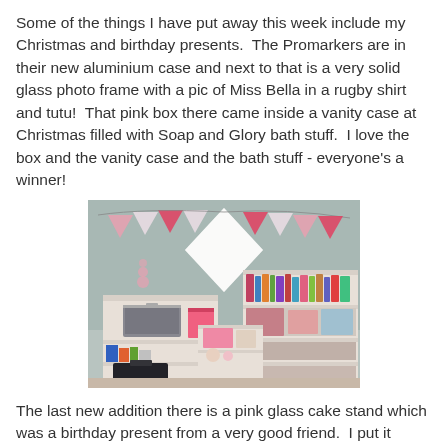Some of the things I have put away this week include my Christmas and birthday presents.  The Promarkers are in their new aluminium case and next to that is a very solid glass photo frame with a pic of Miss Bella in a rugby shirt and tutu!  That pink box there came inside a vanity case at Christmas filled with Soap and Glory bath stuff.  I love the box and the vanity case and the bath stuff - everyone's a winner!
[Figure (photo): A craft room with white shelving units holding various supplies, a pink box, an aluminium case, and bunting (pink and white triangular flags) hanging on the wall. A bright window is visible in the background.]
The last new addition there is a pink glass cake stand which was a birthday present from a very good friend.  I put it together but it needs a little adjustment and it being glass and me being accident prone, I thought it a job for